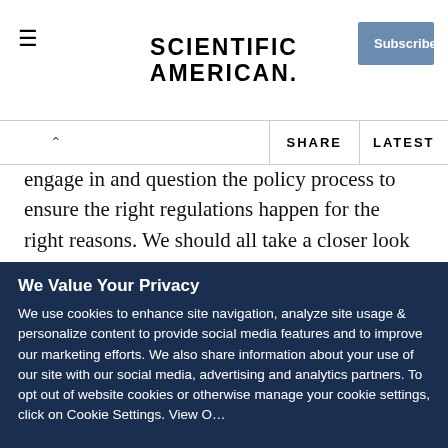SCIENTIFIC AMERICAN
engage in and question the policy process to ensure the right regulations happen for the right reasons. We should all take a closer look at how HHS and others intend to handle this type of dual-use research. Ultimately, our lives really might depend on it.
We Value Your Privacy
We use cookies to enhance site navigation, analyze site usage & personalize content to provide social media features and to improve our marketing efforts. We also share information about your use of our site with our social media, advertising and analytics partners. To opt out of website cookies or otherwise manage your cookie settings, click on Cookie Settings. View O...